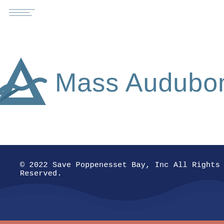[Figure (logo): Mass Audubon logo with triangle/bird icon in steel blue and 'Mass Audubon' text]
© 2022 Save Poppenesset Bay, Inc All Rights Reserved.